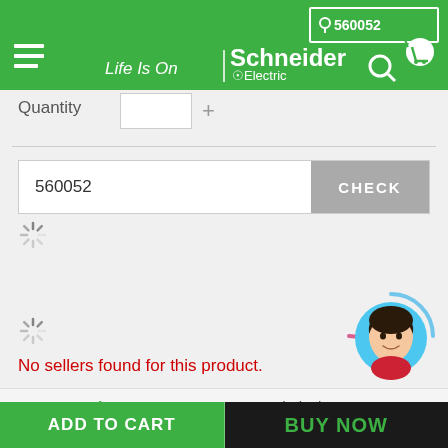[Figure (screenshot): Schneider Electric website navigation bar with green background, hamburger menu, Life Is On | Schneider Electric logo, location pin showing 560052, search icon, and cart icon]
Quantity
560052
CHECK
No sellers found for this product.
Product Description
Technical Specifications
ADD TO CART
BUY NOW